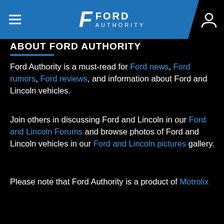Ford Authority — FORD AUTHORITY
ABOUT FORD AUTHORITY
Ford Authority is a must-read for Ford news, Ford rumors, Ford reviews, and information about Ford and Lincoln vehicles.
Join others in discussing Ford and Lincoln in our Ford and Lincoln Forums and browse photos of Ford and Lincoln vehicles in our Ford and Lincoln pictures gallery.
Please note that Ford Authority is a product of Motrolix LLC and is not sponsored, owned, or in any other way condoned by Ford Motor Company, its brands, subsidiaries, or partners.
We also encourage you to check out our sister publications: